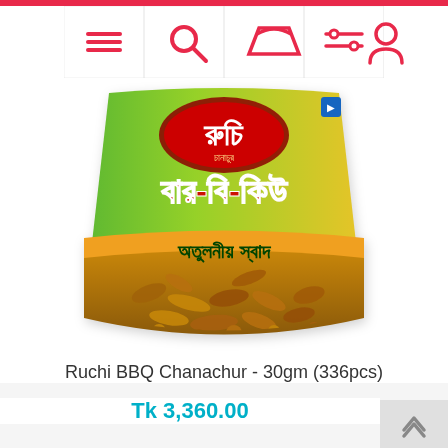[Figure (screenshot): E-commerce product page showing Ruchi BBQ Chanachur snack package. Navigation bar with hamburger menu, search, cart, filter, and profile icons at top. Product bag image with Bengali text showing brand name and BBQ flavor. Product title and price displayed below.]
Ruchi BBQ Chanachur - 30gm (336pcs)
Tk 3,360.00